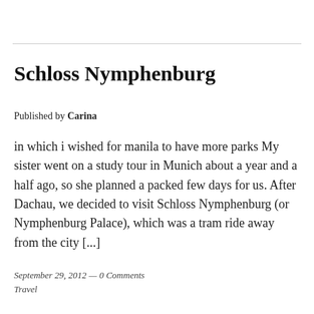Schloss Nymphenburg
Published by Carina
in which i wished for manila to have more parks My sister went on a study tour in Munich about a year and a half ago, so she planned a packed few days for us. After Dachau, we decided to visit Schloss Nymphenburg (or Nymphenburg Palace), which was a tram ride away from the city [...]
September 29, 2012 — 0 Comments
Travel